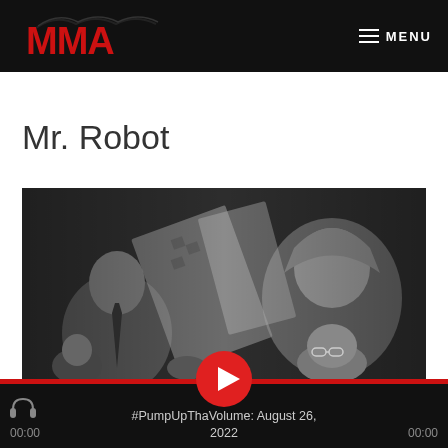MMA — MENU
Mr. Robot
[Figure (photo): Dark collage photo showing a man in a suit on the left and a person in a hoodie on the right, with tilted building structures in the background. Play button overlay at center bottom.]
#PumpUpThaVolume: August 26, 2022
00:00
00:00